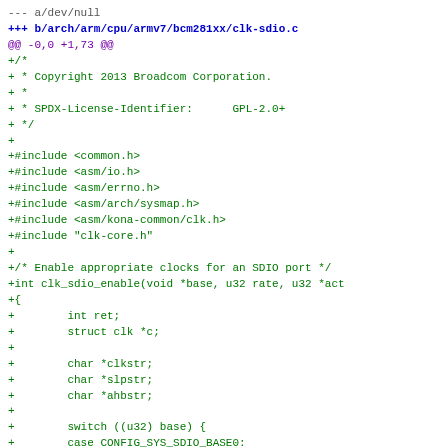--- a/dev/null
+++ b/arch/arm/cpu/armv7/bcm281xx/clk-sdio.c
@@ -0,0 +1,73 @@
+/*
+ * Copyright 2013 Broadcom Corporation.
+ *
+ * SPDX-License-Identifier:      GPL-2.0+
+ */
+
+#include <common.h>
+#include <asm/io.h>
+#include <asm/errno.h>
+#include <asm/arch/sysmap.h>
+#include <asm/kona-common/clk.h>
+#include "clk-core.h"
+
+/* Enable appropriate clocks for an SDIO port */
+int clk_sdio_enable(void *base, u32 rate, u32 *act
+{
+        int ret;
+        struct clk *c;
+
+        char *clkstr;
+        char *slpstr;
+        char *ahbstr;
+
+        switch ((u32) base) {
+        case CONFIG_SYS_SDIO_BASE0:
+                clkstr = CONFIG_SYS_SDIO0 "_clk";
+                ahbstr = CONFIG_SYS_SDIO0 "_ahb_clk
+                slpstr = CONFIG_SYS_SDIO0 "_slee